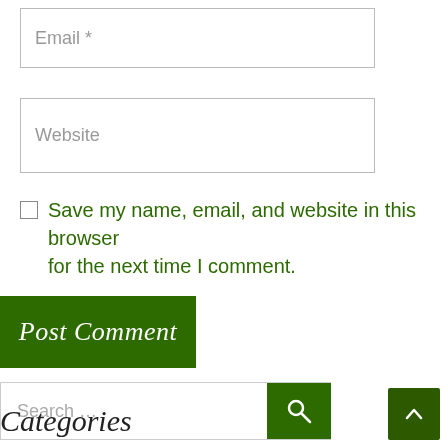Email *
Website
Save my name, email, and website in this browser for the next time I comment.
Post Comment
Search ...
Categories